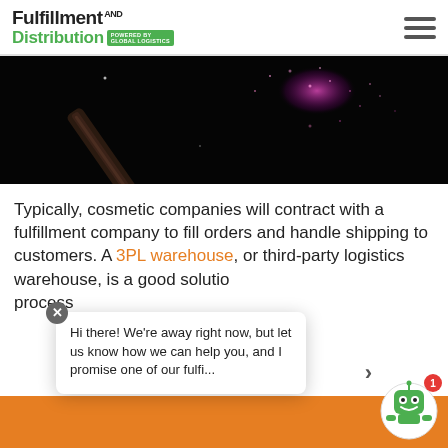Fulfillment AND Distribution — powered by Global Logistics
[Figure (photo): Dark artistic photo of a cosmetic mascara wand with pink powder/dust burst against a black background]
Typically, cosmetic companies will contract with a fulfillment company to fill orders and handle shipping to customers. A 3PL warehouse, or third-party logistics warehouse, is a good solution... process...
Hi there! We're away right now, but let us know how we can help you, and I promise one of our fulfi...